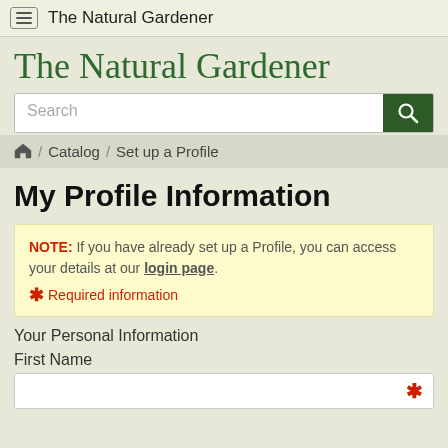The Natural Gardener
The Natural Gardener
Search
Home / Catalog / Set up a Profile
My Profile Information
NOTE: If you have already set up a Profile, you can access your details at our login page. * Required information
Your Personal Information
First Name